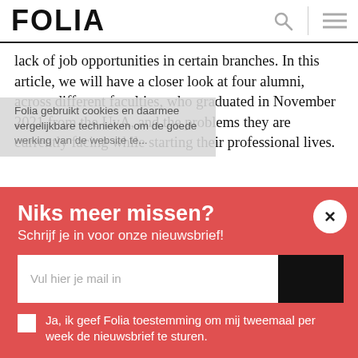FOLIA
lack of job opportunities in certain branches. In this article, we will have a closer look at four alumni, across different faculties, who graduated in November 2021 from the UvA, and the problems they are currently facing while starting their professional lives.
Folia gebruikt cookies en daarmee vergelijkbare technieken om de goede ...
Niks meer missen?
Schrijf je in voor onze nieuwsbrief!
Vul hier je mail in
Ja, ik geef Folia toestemming om mij tweemaal per week de nieuwsbrief te sturen.